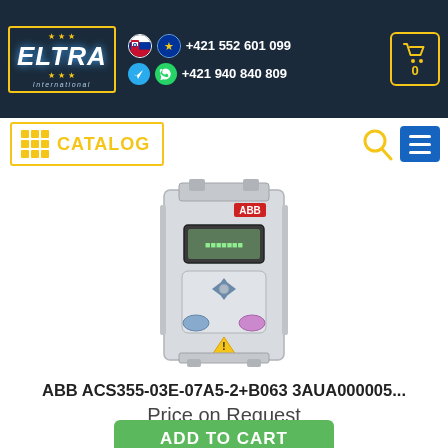ELTRA International — +421 552 601 099 / +421 940 840 809
[Figure (screenshot): CATALOG button with grid icon on yellow border, search icon, blue hamburger menu button]
[Figure (photo): ABB ACS355 frequency inverter/drive unit, white metal housing with LCD display and control buttons, mounted vertically]
ABB ACS355-03E-07A5-2+B063 3AUA000005...
Price on Request
ADD TO CART